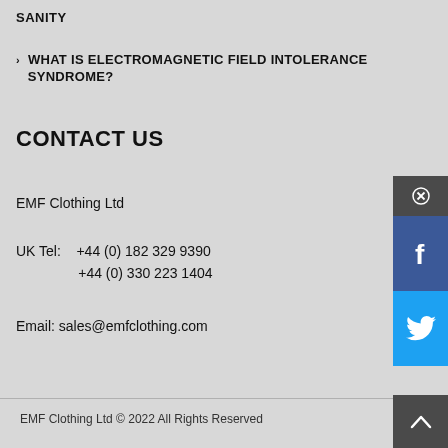SANITY
› WHAT IS ELECTROMAGNETIC FIELD INTOLERANCE SYNDROME?
CONTACT US
EMF Clothing Ltd
UK Tel:   +44 (0) 182 329 9390
           +44 (0) 330 223 1404
Email: sales@emfclothing.com
EMF Clothing Ltd © 2022 All Rights Reserved